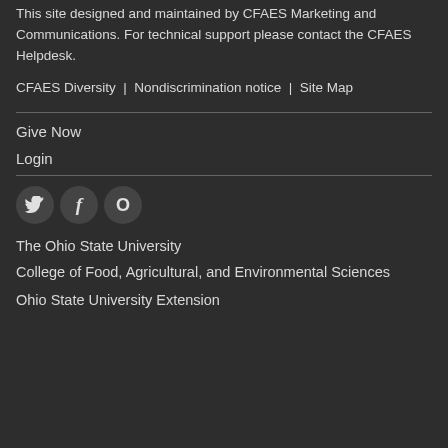This site designed and maintained by CFAES Marketing and Communications. For technical support please contact the CFAES Helpdesk.
CFAES Diversity | Nondiscrimination notice | Site Map
Give Now
Login
[Figure (other): Social media icons: Twitter (bird icon), Facebook (f icon), and a circular icon with letter O]
The Ohio State University
College of Food, Agricultural, and Environmental Sciences
Ohio State University Extension